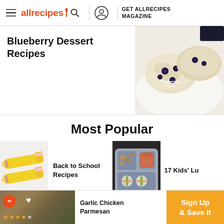allrecipes | GET ALLRECIPES MAGAZINE
Blueberry Dessert Recipes
[Figure (photo): Close-up photo of blueberry scones or biscuits with visible blueberries on a white plate]
Most Popular
[Figure (photo): Photo of pencil-shaped sugar cookies on a light background]
Back to School Recipes
[Figure (photo): Photo of kids lunchbox with pinwheel sandwiches, almonds, and dipping sauce in a bento box]
17 Kids' Lu
[Figure (photo): Advertisement banner showing Garlic Chicken Parmesan with Sign Up & Save It call to action]